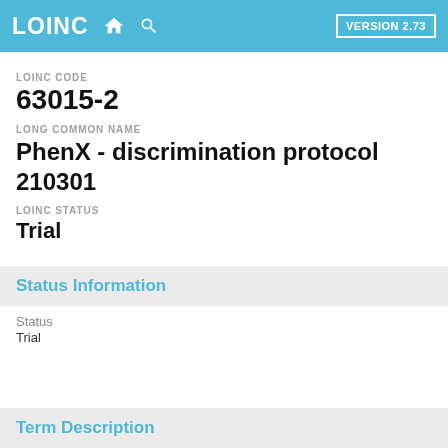LOINC VERSION 2.73
LOINC CODE
63015-2
LONG COMMON NAME
PhenX - discrimination protocol 210301
LOINC STATUS
Trial
Status Information
Status
Trial
Term Description